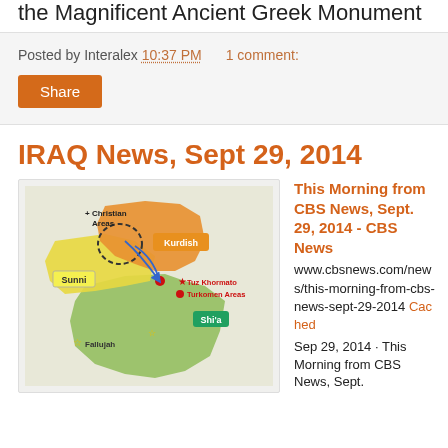the Magnificent Ancient Greek Monument
Posted by Interalex 10:37 PM   1 comment:
Share
IRAQ News, Sept 29, 2014
[Figure (map): Map of Iraq showing Kurdish (orange), Sunni (yellow), and Shi'a (green) regions. Labels include: + Christian Areas, Kurdish, Sunni, Tuz Khormato, Turkomen Areas, Shi'a, Fallujah. Blue arrows and a red dot mark key locations.]
This Morning from CBS News, Sept. 29, 2014 - CBS News www.cbsnews.com/news/this-morning-from-cbs-news-sept-29-2014 Cached Sep 29, 2014 · This Morning from CBS News, Sept.